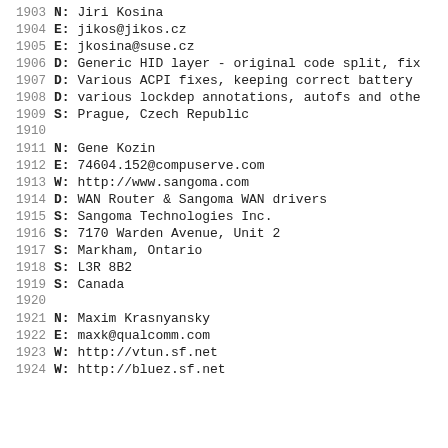1903  N: Jiri Kosina
1904  E: jikos@jikos.cz
1905  E: jkosina@suse.cz
1906  D: Generic HID layer - original code split, fix
1907  D: Various ACPI fixes, keeping correct battery
1908  D: various lockdep annotations, autofs and othe
1909  S: Prague, Czech Republic
1910
1911  N: Gene Kozin
1912  E: 74604.152@compuserve.com
1913  W: http://www.sangoma.com
1914  D: WAN Router & Sangoma WAN drivers
1915  S: Sangoma Technologies Inc.
1916  S: 7170 Warden Avenue, Unit 2
1917  S: Markham, Ontario
1918  S: L3R 8B2
1919  S: Canada
1920
1921  N: Maxim Krasnyansky
1922  E: maxk@qualcomm.com
1923  W: http://vtun.sf.net
1924  W: http://bluez.sf.net